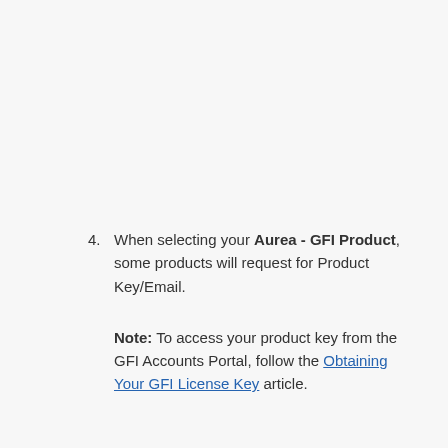4. When selecting your Aurea - GFI Product, some products will request for Product Key/Email.
Note: To access your product key from the GFI Accounts Portal, follow the Obtaining Your GFI License Key article.